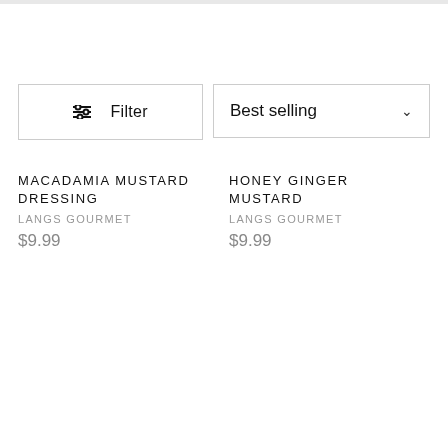Filter
Best selling
MACADAMIA MUSTARD DRESSING
LANGS GOURMET
$9.99
HONEY GINGER MUSTARD
LANGS GOURMET
$9.99